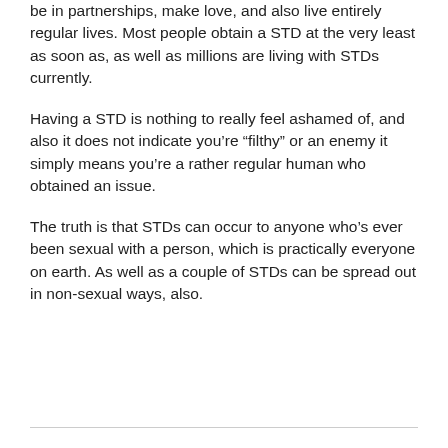be in partnerships, make love, and also live entirely regular lives. Most people obtain a STD at the very least as soon as, as well as millions are living with STDs currently.
Having a STD is nothing to really feel ashamed of, and also it does not indicate you're “filthy” or an enemy it simply means you’re a rather regular human who obtained an issue.
The truth is that STDs can occur to anyone who’s ever been sexual with a person, which is practically everyone on earth. As well as a couple of STDs can be spread out in non-sexual ways, also.